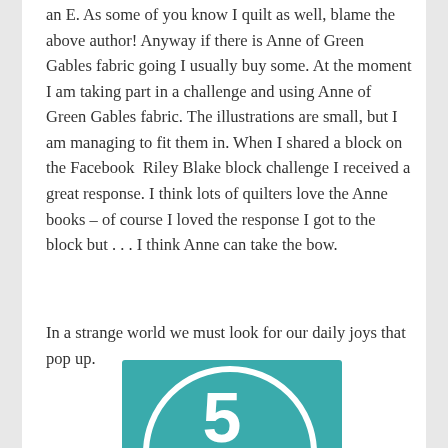an E. As some of you know I quilt as well, blame the above author! Anyway if there is Anne of Green Gables fabric going I usually buy some. At the moment I am taking part in a challenge and using Anne of Green Gables fabric. The illustrations are small, but I am managing to fit them in. When I shared a block on the Facebook Riley Blake block challenge I received a great response. I think lots of quilters love the Anne books – of course I loved the response I got to the block but . . . I think Anne can take the bow.
In a strange world we must look for our daily joys that pop up.
[Figure (logo): Connect Five Friday badge from thebookdate.wordpress.com — teal square with a large white circle containing the number 5 and the text 'Connect Five Friday', with a stack of colorful books in the lower right, and the URL thebookdate.wordpress.com at the bottom.]